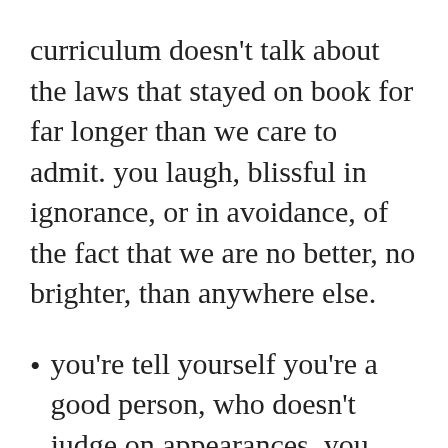curriculum doesn't talk about the laws that stayed on book for far longer than we care to admit. you laugh, blissful in ignorance, or in avoidance, of the fact that we are no better, no brighter, than anywhere else.
you're tell yourself you're a good person, who doesn't judge on appearances. you applaud yourself for your